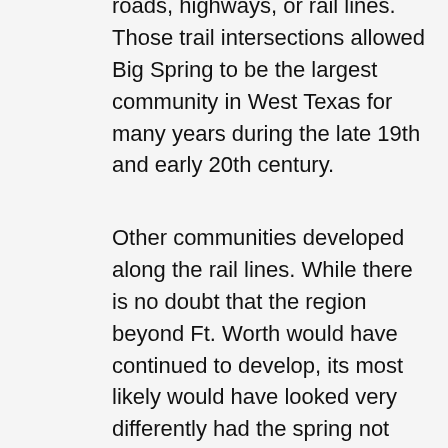roads, highways, or rail lines. Those trail intersections allowed Big Spring to be the largest community in West Texas for many years during the late 19th and early 20th century.
Other communities developed along the rail lines. While there is no doubt that the region beyond Ft. Worth would have continued to develop, its most likely would have looked very differently had the spring not been visited and consequently thoroughly documented by Captain Marcy. Early plans for the Texas and Pacific Railroad called for the route west from Ft. Worth to be further up on the plains, closer to modern day Tahoka. However, a constant reliable water source was not to be found upon that route, and "Marcy's Road and big spring" proved to be the logical site for rail line development. Had the spring not existed, one can only imagine what the map of